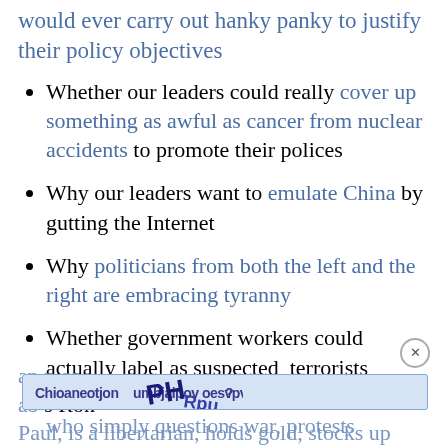would ever carry out hanky panky to justify their policy objectives
Whether our leaders could really cover up something as awful as cancer from nuclear accidents to promote their polices
Why our leaders want to emulate China by gutting the Internet
Why politicians from both the left and the right are embracing tyranny
Whether government workers could actually label as suspected  terrorists anyone who simply questions war, protests and...or about...s Ron Paul, is a libertarian, holds gold, stocks up